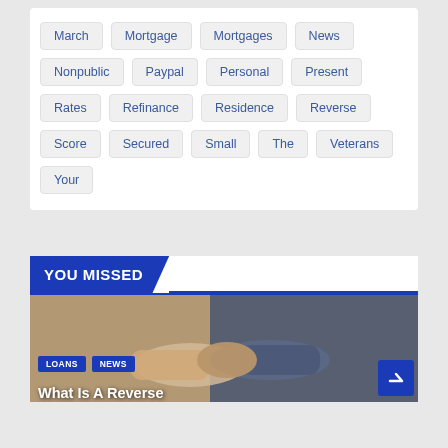March
Mortgage
Mortgages
News
Nonpublic
Paypal
Personal
Present
Rates
Refinance
Residence
Reverse
Score
Secured
Small
The
Veterans
Your
YOU MISSED
[Figure (photo): Two people shaking hands, business meeting context]
LOANS  NEWS
What Is A Reverse...